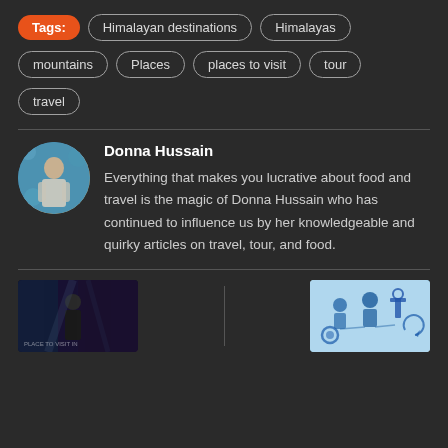Tags: Himalayan destinations | Himalayas | mountains | Places | places to visit | tour | travel
Donna Hussain
Everything that makes you lucrative about food and travel is the magic of Donna Hussain who has continued to influence us by her knowledgeable and quirky articles on travel, tour, and food.
[Figure (photo): Circular avatar photo of author Donna Hussain, a woman in a light-colored outfit against a decorative blue patterned background]
[Figure (photo): Dark cinematic image (bottom left thumbnail), appears to show a person in dramatic lighting]
[Figure (illustration): Light blue illustration (bottom right thumbnail) showing tech/science icons and figures]